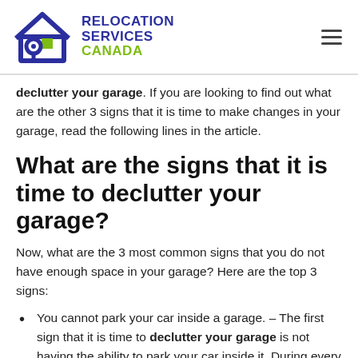RELOCATION SERVICES CANADA
declutter your garage. If you are looking to find out what are the other 3 signs that it is time to make changes in your garage, read the following lines in the article.
What are the signs that it is time to declutter your garage?
Now, what are the 3 most common signs that you do not have enough space in your garage? Here are the top 3 signs:
You cannot park your car inside a garage. – The first sign that it is time to declutter your garage is not having the ability to park your car inside it. During every season of the year, keeping your car inside a garage is a lot safer.
Keeping the items that you simply do not need anymore. – If